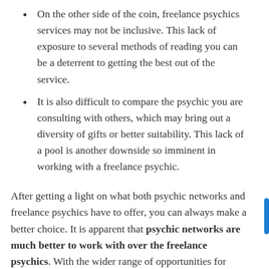On the other side of the coin, freelance psychics services may not be inclusive. This lack of exposure to several methods of reading you can be a deterrent to getting the best out of the service.
It is also difficult to compare the psychic you are consulting with others, which may bring out a diversity of gifts or better suitability. This lack of a pool is another downside so imminent in working with a freelance psychic.
After getting a light on what both psychic networks and freelance psychics have to offer, you can always make a better choice. It is apparent that psychic networks are much better to work with over the freelance psychics. With the wider range of opportunities for clients, the peace of mind as well as convenience, it is without a doubt that this option takes